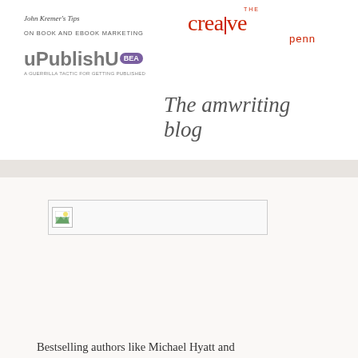[Figure (logo): John Kremer's Tips on Book and Ebook Marketing logo]
[Figure (logo): The Creative Penn logo in red]
[Figure (logo): uPublishU BEA logo with purple badge and tagline]
[Figure (logo): The amwriting blog logo in cursive script]
[Figure (photo): Broken/missing image placeholder with small landscape icon]
Bestselling authors like Michael Hyatt and